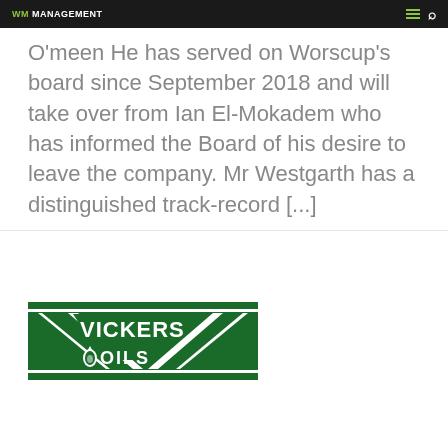WM Management
O'meen He has served on Worscup's board since September 2018 and will take over from Ian El-Mokadem who has informed the Board of his desire to leave the company. Mr Westgarth has a distinguished track-record [...]
[Figure (logo): Vickers Oils logo — green rectangular banner with stylized V shape and oil drop, text reading VICKERS OILS]